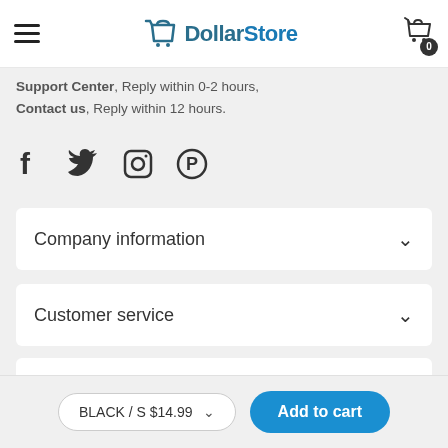DollarStore — navigation header with hamburger menu, logo, and cart (0)
Support Center, Reply within 0-2 hours, Contact us, Reply within 12 hours.
[Figure (infographic): Social media icons: Facebook, Twitter, Instagram, Pinterest]
Company information
Customer service
Other business
BLACK / S $14.99 — Add to cart